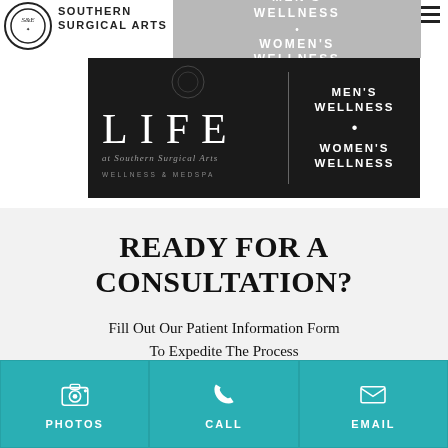[Figure (logo): Southern Surgical Arts logo with circular emblem, brand name text, and LIFE at Southern Surgical Arts Wellness & MedSpa banner with Men's Wellness and Women's Wellness sections]
READY FOR A CONSULTATION?
Fill Out Our Patient Information Form To Expedite The Process
[Figure (infographic): Three teal CTA buttons: PHOTOS (camera icon), CALL (phone icon), EMAIL (envelope icon)]